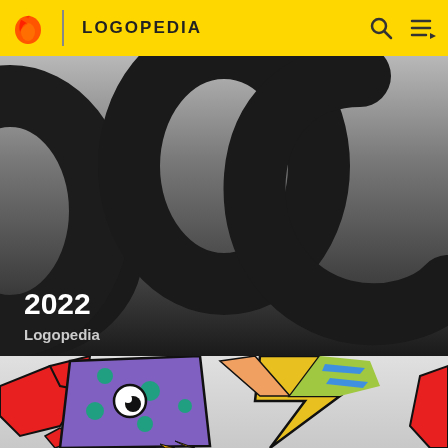LOGOPEDIA
[Figure (illustration): Close-up of large dark rounded letter shapes on a gray gradient background with '2022' and 'Logopedia' text overlay]
[Figure (illustration): Colorful cartoon characters/fish illustration with red, purple, teal, yellow and multi-colored zigzag elements]